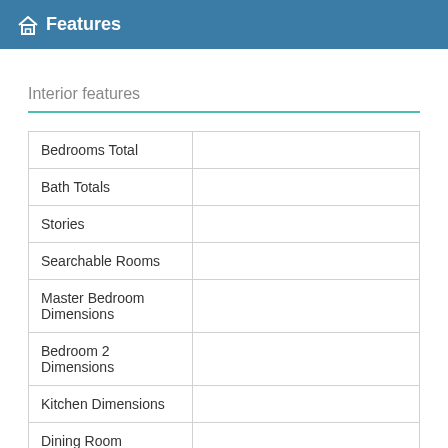Features
Interior features
|  |  |
| --- | --- |
| Bedrooms Total |  |
| Bath Totals |  |
| Stories |  |
| Searchable Rooms |  |
| Master Bedroom Dimensions |  |
| Bedroom 2 Dimensions |  |
| Kitchen Dimensions |  |
| Dining Room Dimensions |  |
| Living Room |  |